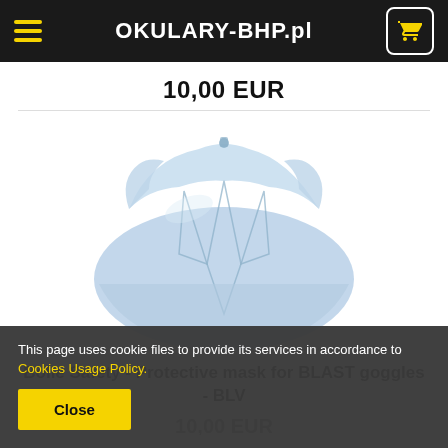OKULARY-BHP.pl
10,00 EUR
[Figure (photo): Transparent blue protective face mask/visor for BLAST goggles (BLV), shown from front on white background.]
Bolle Safety - Protective mask for BLAST goggles - BLV
10,00 EUR
This page uses cookie files to provide its services in accordance to Cookies Usage Policy.
Close